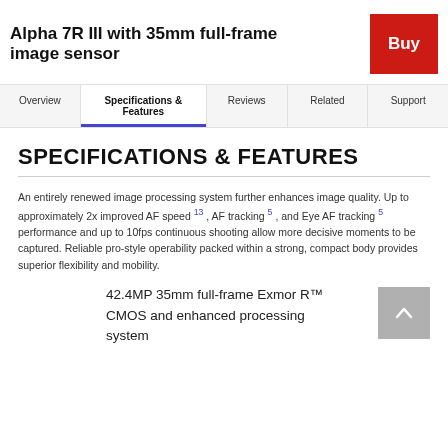Alpha 7R III with 35mm full-frame image sensor
Buy
Overview | Specifications & Features | Reviews | Related | Support
SPECIFICATIONS & FEATURES
An entirely renewed image processing system further enhances image quality. Up to approximately 2x improved AF speed 13 , AF tracking 5 , and Eye AF tracking 5 performance and up to 10fps continuous shooting allow more decisive moments to be captured. Reliable pro-style operability packed within a strong, compact body provides superior flexibility and mobility.
42.4MP 35mm full-frame Exmor R™ CMOS and enhanced processing system